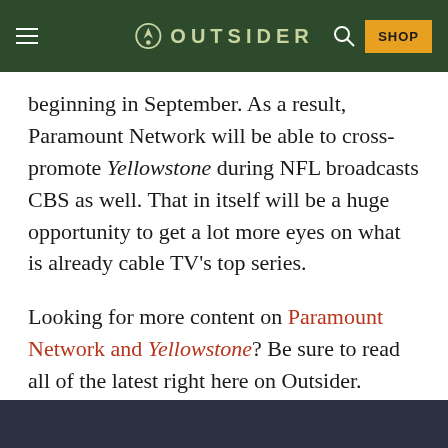OUTSIDER
beginning in September. As a result, Paramount Network will be able to cross-promote Yellowstone during NFL broadcasts CBS as well. That in itself will be a huge opportunity to get a lot more eyes on what is already cable TV's top series.
Looking for more content on Paramount Network and Yellowstone? Be sure to read all of the latest right here on Outsider.